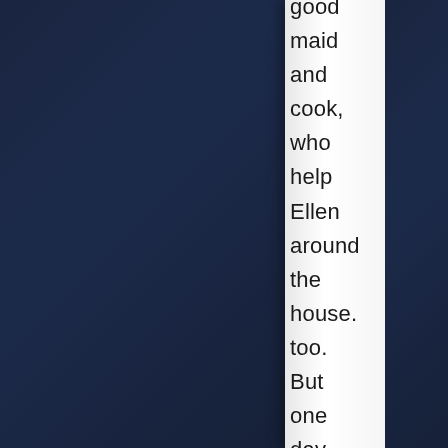good maid and cook, who help Ellen around the house too. But one day, while having intercourse with